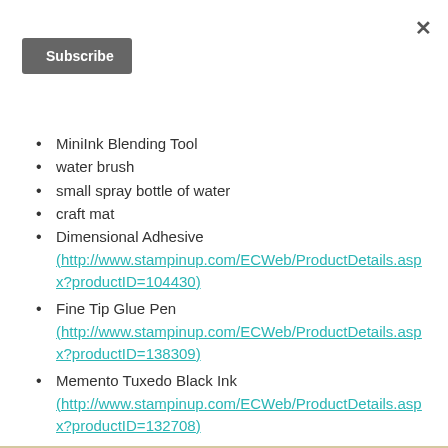×
Subscribe
MiniInk Blending Tool
water brush
small spray bottle of water
craft mat
Dimensional Adhesive (http://www.stampinup.com/ECWeb/ProductDetails.aspx?productID=104430)
Fine Tip Glue Pen (http://www.stampinup.com/ECWeb/ProductDetails.aspx?productID=138309)
Memento Tuxedo Black Ink (http://www.stampinup.com/ECWeb/ProductDetails.aspx?productID=132708)